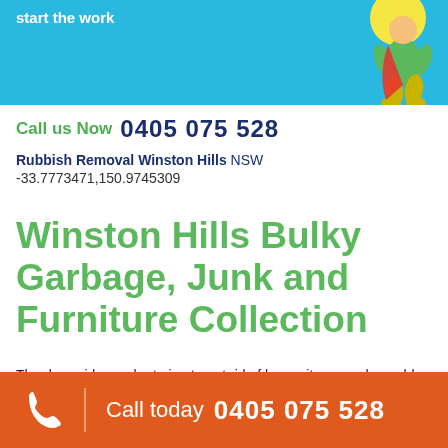[Figure (illustration): Blue banner with white bold text 'start the work' and a cartoon superhero figure in green and yellow on the right side]
Call us Now  0405 075 528
Rubbish Removal Winston Hills NSW
-33.7773471,150.9745309
Winston Hills Bulky Garbage, Junk and Furniture Collection
The downside can be trying to get rid of heavy items such as old furniture, white goods and electronic equipment. Even if your home unit block has a lift, carting large,
Call today  0405 075 528